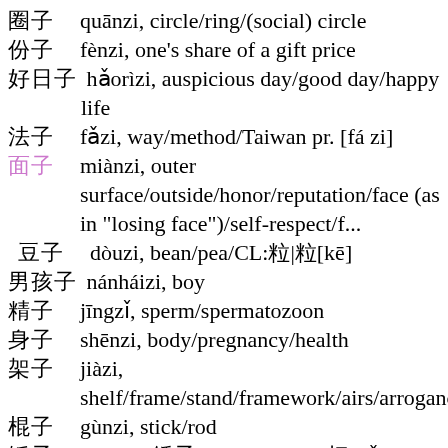圈子  quānzi, circle/ring/(social) circle
份子  fènzi, one's share of a gift price
好日子  hǎorìzi, auspicious day/good day/happy life
法子  fǎzi, way/method/Taiwan pr. [fá zi]
面子  miànzi, outer surface/outside/honor/reputation/face (as in "losing face")/self-respect/f...
豆子  dòuzi, bean/pea/CL:粒|粒[kē]
男孩子  nánháizi, boy
精子  jīngzǐ, sperm/spermatozoon
身子  shēnzi, body/pregnancy/health
架子  jiàzi, shelf/frame/stand/framework/airs/arrogance
棍子  gùnzi, stick/rod
锤子  chuízi, [錘子], hammer/CL:把[bǎ]
沙子  shāzi, sand/grit/CL:粒[lì],把[bǎ]